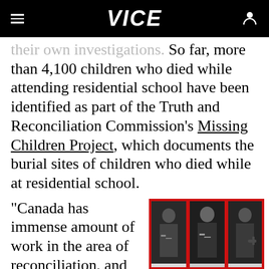VICE
their own investigations. So far, more than 4,100 children who died while attending residential school have been identified as part of the Truth and Reconciliation Commission's Missing Children Project, which documents the burial sites of children who died while at residential school.
“Canada has immense amount of work in the area of reconciliation, and addressing the horrific history that resulted (in)
[Figure (photo): Three black and white photos of men in clerical attire, set against a red background, arranged side by side]
News